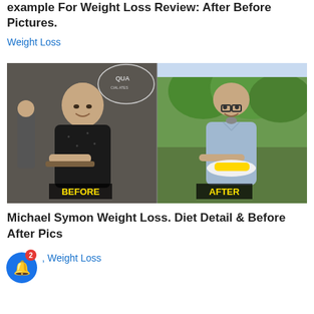example For Weight Loss Review: After Before Pictures.
Weight Loss
[Figure (photo): Before and after weight loss comparison photos showing a bald man in a black shirt holding food (labeled BEFORE) and the same or similar man in a light blue shirt holding a plate with corn (labeled AFTER)]
Michael Symon Weight Loss. Diet Detail & Before After Pics
Weight Loss